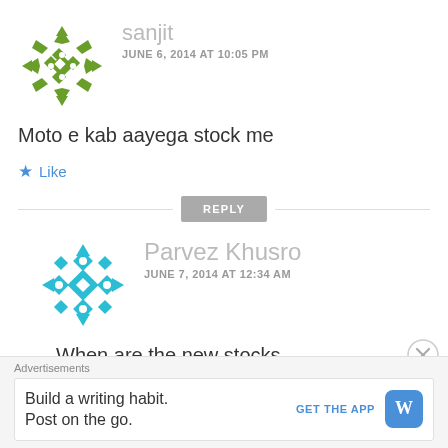[Figure (illustration): Green geometric snowflake/diamond pattern avatar for user sanjit]
sanjit
JUNE 6, 2014 AT 10:05 PM
Moto e kab aayega stock me
Like
REPLY
[Figure (illustration): Teal/cyan geometric diamond pattern avatar for user Parvez Khusro]
Parvez Khusro
JUNE 7, 2014 AT 12:34 AM
When are the new stocks
Advertisements
Build a writing habit.
Post on the go.
GET THE APP